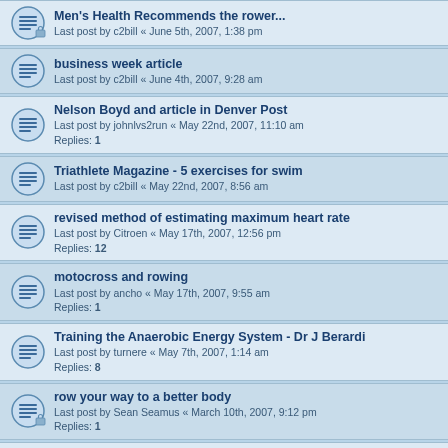Men's Health Recommends the rower...
Last post by c2bill « June 5th, 2007, 1:38 pm
business week article
Last post by c2bill « June 4th, 2007, 9:28 am
Nelson Boyd and article in Denver Post
Last post by johnlvs2run « May 22nd, 2007, 11:10 am
Replies: 1
Triathlete Magazine - 5 exercises for swim
Last post by c2bill « May 22nd, 2007, 8:56 am
revised method of estimating maximum heart rate
Last post by Citroen « May 17th, 2007, 12:56 pm
Replies: 12
motocross and rowing
Last post by ancho « May 17th, 2007, 9:55 am
Replies: 1
Training the Anaerobic Energy System - Dr J Berardi
Last post by turnere « May 7th, 2007, 1:14 am
Replies: 8
row your way to a better body
Last post by Sean Seamus « March 10th, 2007, 9:12 pm
Replies: 1
Martha Stewart turns out to be a fan...
Last post by johnlvs2run « February 2nd, 2007, 6:26 pm
Replies: 22
world championship 4 person relay race...